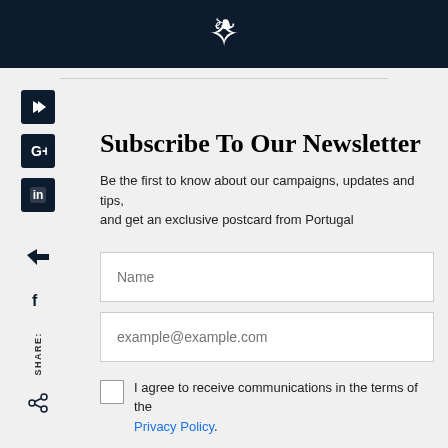[Figure (logo): White ornamental crest/logo on dark navy background header bar]
Subscribe To Our Newsletter
Be the first to know about our campaigns, updates and tips, and get an exclusive postcard from Portugal
Name (input field placeholder)
example@example.com (input field placeholder)
I agree to receive communications in the terms of the Privacy Policy.